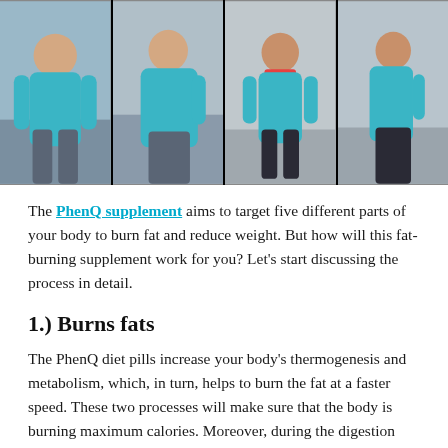[Figure (photo): Four before-and-after photos of a woman in a blue tank top showing weight loss results, arranged side by side: front view before, side view before, front view after, side view after.]
The PhenQ supplement aims to target five different parts of your body to burn fat and reduce weight. But how will this fat-burning supplement work for you? Let's start discussing the process in detail.
1.) Burns fats
The PhenQ diet pills increase your body's thermogenesis and metabolism, which, in turn, helps to burn the fat at a faster speed. These two processes will make sure that the body is burning maximum calories. Moreover, during the digestion